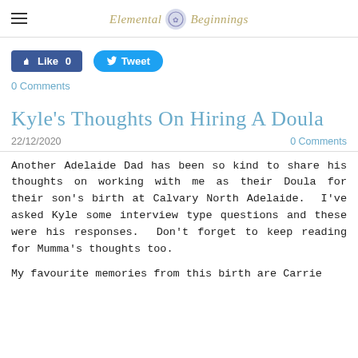Elemental Beginnings
[Figure (other): Facebook Like button (blue rectangle) showing count 0, and Twitter Tweet button (blue rounded)]
0 Comments
Kyle's Thoughts On Hiring A Doula
22/12/2020    0 Comments
Another Adelaide Dad has been so kind to share his thoughts on working with me as their Doula for their son's birth at Calvary North Adelaide.  I've asked Kyle some interview type questions and these were his responses.  Don't forget to keep reading for Mumma's thoughts too.
My favourite memories from this birth are Carrie